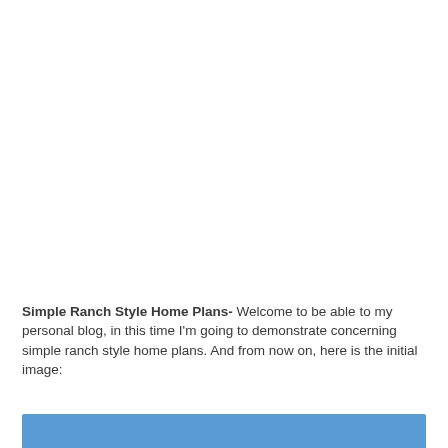Simple Ranch Style Home Plans- Welcome to be able to my personal blog, in this time I'm going to demonstrate concerning simple ranch style home plans. And from now on, here is the initial image:
[Figure (other): Blue rectangular bar/image placeholder at the bottom of the page]